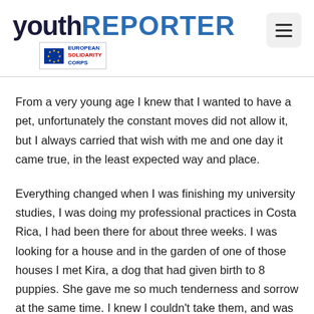youthREPORTER — European Solidarity Corps
From a very young age I knew that I wanted to have a pet, unfortunately the constant moves did not allow it, but I always carried that wish with me and one day it came true, in the least expected way and place.
Everything changed when I was finishing my university studies, I was doing my professional practices in Costa Rica, I had been there for about three weeks. I was looking for a house and in the garden of one of those houses I met Kira, a dog that had given birth to 8 puppies. She gave me so much tenderness and sorrow at the same time. I knew I couldn't take them, and was only there temporarily, but my boyfriend made a solo decision to adopt the youngest, he named her Luna, a